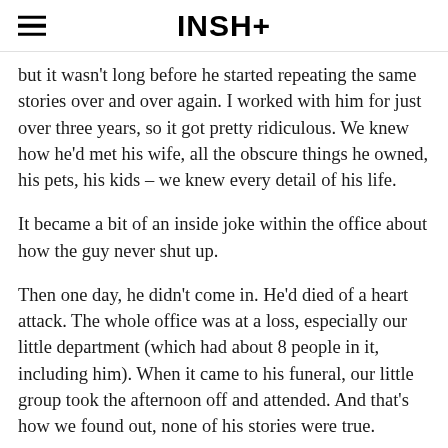INSH+
but it wasn't long before he started repeating the same stories over and over again. I worked with him for just over three years, so it got pretty ridiculous. We knew how he'd met his wife, all the obscure things he owned, his pets, his kids – we knew every detail of his life.
It became a bit of an inside joke within the office about how the guy never shut up.
Then one day, he didn't come in. He'd died of a heart attack. The whole office was at a loss, especially our little department (which had about 8 people in it, including him). When it came to his funeral, our little group took the afternoon off and attended. And that's how we found out, none of his stories were true.